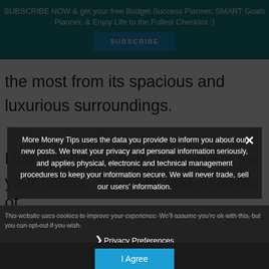SUBSCRIBE NOW & get your free Budget Success Planner, SMART Goals Planner, & Enjoy Life to the Fullest Checklist :)
the most from its spacious and luxurious surroundings.
Live in a house that is adequate for your needs. You'll pay less in terms of your...
More Money Tips uses the data you provide to inform you about our new posts. We treat your privacy and personal information seriously, and applies physical, electronic and technical management procedures to keep your information secure. We will never trade, sell our users' information.
This website uses cookies to improve your experience. We'll assume you're ok with this, but you can opt-out if you wish.
Privacy Preferences
I Agree